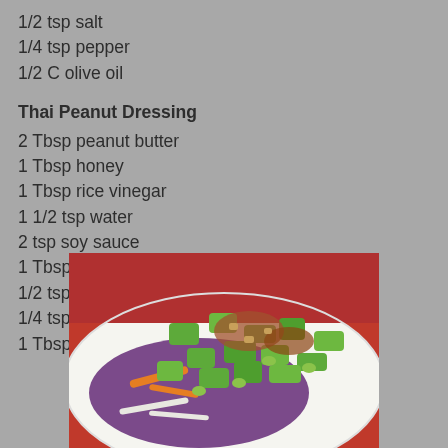1/2 tsp salt
1/4 tsp pepper
1/2 C olive oil
Thai Peanut Dressing
2 Tbsp peanut butter
1 Tbsp honey
1 Tbsp rice vinegar
1 1/2 tsp water
2 tsp soy sauce
1 Tbsp sugar
1/2 tsp salt
1/4 tsp cayenne
1 Tbsp olive oil
[Figure (photo): A colorful Thai salad with chopped green vegetables (cucumber, edamame, scallions), purple cabbage, shredded carrots, and peanut dressing on a white plate.]